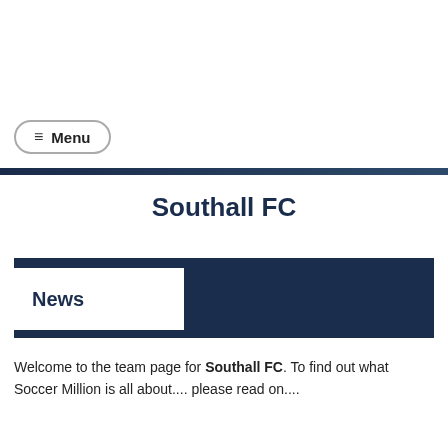[Figure (logo): Soccermillion.com logo with football imagery and blue text]
UK Marketing Specialists
≡ Menu
Southall FC
News
Welcome to the team page for Southall FC. To find out what Soccer Million is all about.... please read on....